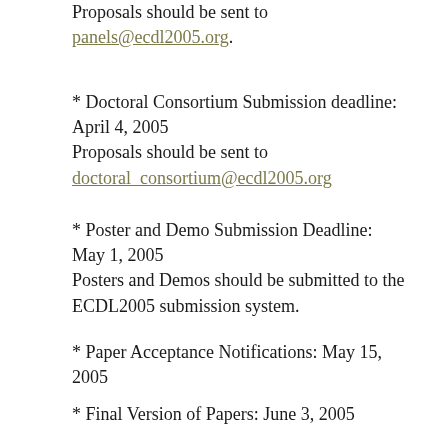Proposals should be sent to panels@ecdl2005.org.
* Doctoral Consortium Submission deadline: April 4, 2005
Proposals should be sent to doctoral_consortium@ecdl2005.org
* Poster and Demo Submission Deadline: May 1, 2005
Posters and Demos should be submitted to the ECDL2005 submission system.
* Paper Acceptance Notifications: May 15, 2005
* Final Version of Papers: June 3, 2005